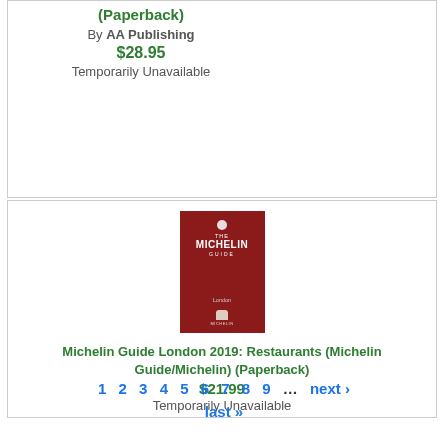(Paperback)
By AA Publishing
$28.95
Temporarily Unavailable
[Figure (photo): Cover of The Michelin Guide London, red book]
Michelin Guide London 2019: Restaurants (Michelin Guide/Michelin) (Paperback)
$21.99
Temporarily Unavailable
1  2  3  4  5  6  7  8  9  ...  next › last »